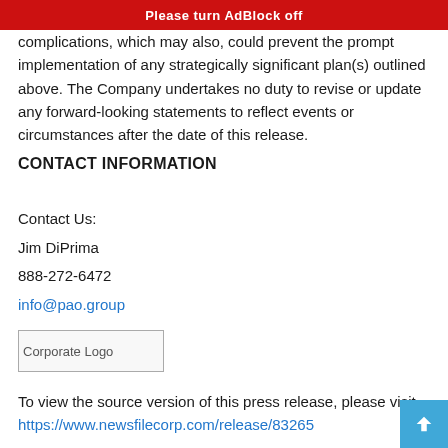Please turn AdBlock off
complications, which may also, could prevent the prompt implementation of any strategically significant plan(s) outlined above. The Company undertakes no duty to revise or update any forward-looking statements to reflect events or circumstances after the date of this release.
CONTACT INFORMATION
Contact Us:
Jim DiPrima
888-272-6472
info@pao.group
[Figure (logo): Corporate Logo placeholder image]
To view the source version of this press release, please visit https://www.newsfilecorp.com/release/83265